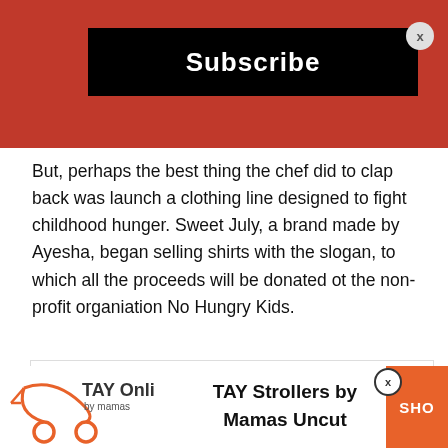[Figure (screenshot): Red background banner with black Subscribe button and X close button in top right]
But, perhaps the best thing the chef did to clap back was launch a clothing line designed to fight childhood hunger. Sweet July, a brand made by Ayesha, began selling shirts with the slogan, to which all the proceeds will be donated ot the non-profit organiation No Hungry Kids.
[Figure (logo): Blue geometric star/snowflake logo inside a white box with border]
[Figure (logo): TAY Online by mamas logo and TAY Strollers by Mamas Uncut with orange SHOP button at bottom of page]